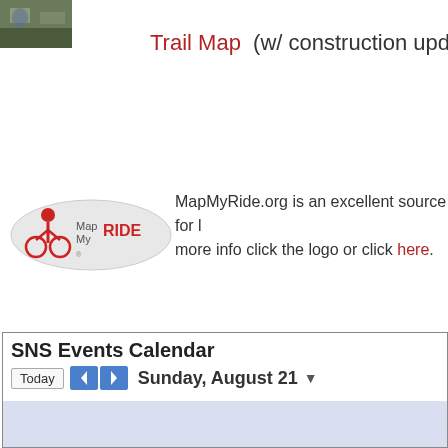[Figure (photo): Small thumbnail photo at top left, appears to show people or a trail scene]
Trail Map  (w/ construction updates)
[Figure (logo): MapMyRide logo showing a cyclist figure with the text MapMyRide]
MapMyRide.org is an excellent source for lo more info click the logo or click here.
SNS Events Calendar
Today  Sunday, August 21